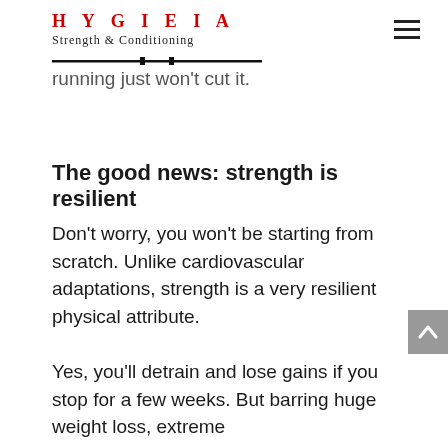HYGIEIA Strength & Conditioning
running just won't cut it.
The good news: strength is resilient
Don't worry, you won't be starting from scratch. Unlike cardiovascular adaptations, strength is a very resilient physical attribute.
Yes, you'll detrain and lose gains if you stop for a few weeks. But barring huge weight loss, extreme